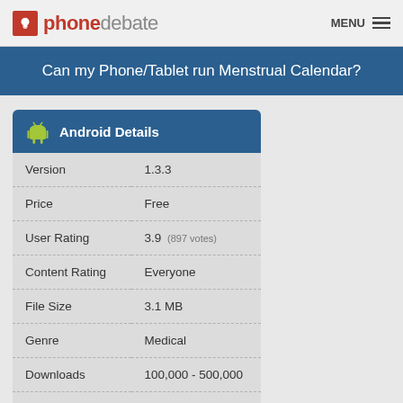phonedebate  MENU
Can my Phone/Tablet run Menstrual Calendar?
|  | Android Details |
| --- | --- |
| Version | 1.3.3 |
| Price | Free |
| User Rating | 3.9 (897 votes) |
| Content Rating | Everyone |
| File Size | 3.1 MB |
| Genre | Medical |
| Downloads | 100,000 - 500,000 |
| Developer | indhay |